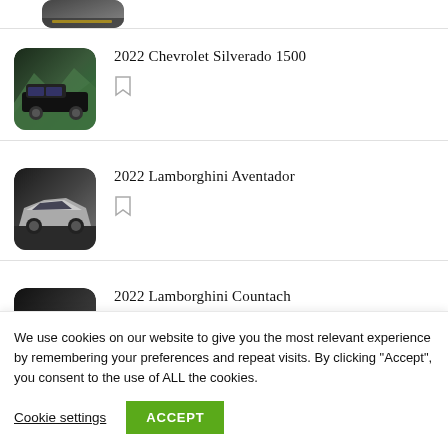[Figure (photo): Partial car photo at top, cropped]
2022 Chevrolet Silverado 1500
[Figure (photo): 2022 Chevrolet Silverado 1500 truck in mountain setting]
2022 Lamborghini Aventador
[Figure (photo): 2022 Lamborghini Aventador silver sports car]
2022 Lamborghini Countach
[Figure (photo): 2022 Lamborghini Countach white sports car, partially visible]
We use cookies on our website to give you the most relevant experience by remembering your preferences and repeat visits. By clicking “Accept”, you consent to the use of ALL the cookies.
Cookie settings
ACCEPT